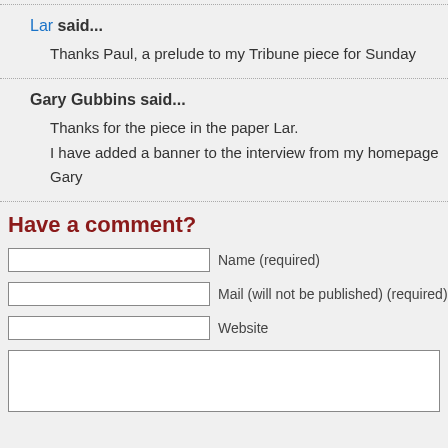Lar said...
Thanks Paul, a prelude to my Tribune piece for Sunday
Gary Gubbins said...
Thanks for the piece in the paper Lar.
I have added a banner to the interview from my homepage
Gary
Have a comment?
Name (required)
Mail (will not be published) (required)
Website